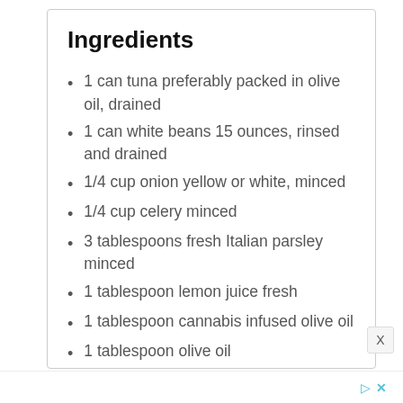Ingredients
1 can tuna preferably packed in olive oil, drained
1 can white beans 15 ounces, rinsed and drained
1/4 cup onion yellow or white, minced
1/4 cup celery minced
3 tablespoons fresh Italian parsley minced
1 tablespoon lemon juice fresh
1 tablespoon cannabis infused olive oil
1 tablespoon olive oil
1/2 teaspoon garlic minced